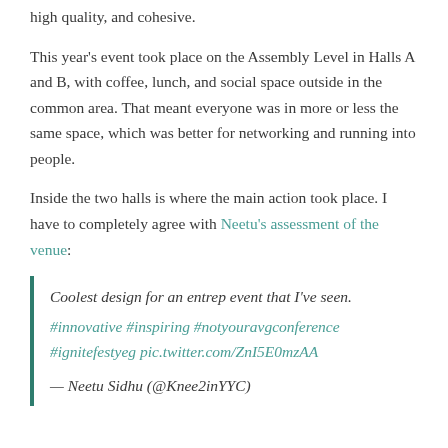high quality, and cohesive.
This year's event took place on the Assembly Level in Halls A and B, with coffee, lunch, and social space outside in the common area. That meant everyone was in more or less the same space, which was better for networking and running into people.
Inside the two halls is where the main action took place. I have to completely agree with Neetu's assessment of the venue:
Coolest design for an entrep event that I've seen. #innovative #inspiring #notyouravgconference #ignitefestyeg pic.twitter.com/ZnI5E0mzAA — Neetu Sidhu (@Knee2inYYC)